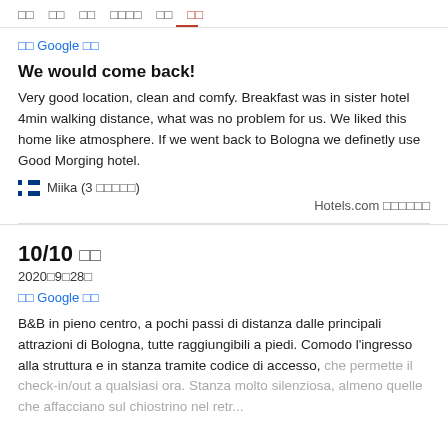□□  □□  □□  □□□□  □□  □□
□□ Google □□
We would come back!
Very good location, clean and comfy. Breakfast was in sister hotel 4min walking distance, what was no problem for us. We liked this home like atmosphere. If we went back to Bologna we definetly use Good Morging hotel.
🇫🇮 Miika (3 □□□□□)
Hotels.com □□□□□□
10/10 □□
2020□9□28□
□□ Google □□
B&B in pieno centro, a pochi passi di distanza dalle principali attrazioni di Bologna, tutte raggiungibili a piedi. Comodo l'ingresso alla struttura e in stanza tramite codice di accesso, che permette il check-in/out a qualsiasi ora. Stanza molto silenziosa, almeno quelle che affacciano sul chiostrino nel retr...